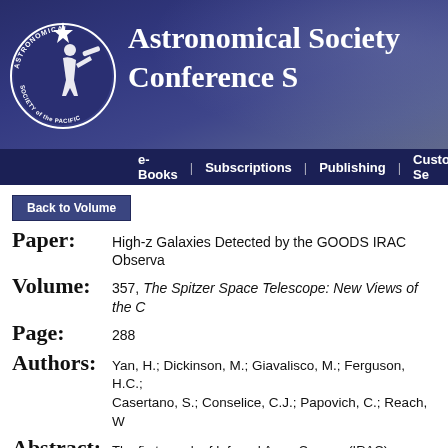Astronomical Society Conference S
e-Books | Subscriptions | Publishing | Customer Se
Back to Volume
Paper: High-z Galaxies Detected by the GOODS IRAC Observa
Volume: 357, The Spitzer Space Telescope: New Views of the C
Page: 288
Authors: Yan, H.; Dickinson, M.; Giavalisco, M.; Ferguson, H.C.; Casertano, S.; Conselice, C.J.; Papovich, C.; Reach, W
Abstract: The first epoch of Infrared Array Camera (IRAC) observations of the Great Observatories Origins Deep Survey (GOODS) Spitzer Legacy Program have successfully to study the rest-frame optical properties of galaxies at t properties of a collection of Lyman-break galaxy candida (HUDF), several of which have spectroscopic confirmati optical fluxes of these IRAC-identified high-redshift gala populations with stellar masses of a few ×10^10 M_Solar an implies that massive galaxies already existed when the formation redshifts of their evolved components could b